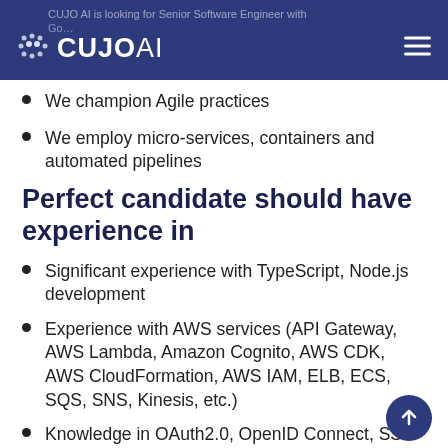CUJO AI is looking for Senior Software Engineer with CUJOAI
We champion Agile practices
We employ micro-services, containers and automated pipelines
Perfect candidate should have experience in
Significant experience with TypeScript, Node.js development
Experience with AWS services (API Gateway, AWS Lambda, Amazon Cognito, AWS CDK, AWS CloudFormation, AWS IAM, ELB, ECS, SQS, SNS, Kinesis, etc.)
Knowledge in OAuth2.0, OpenID Connect, SSOML